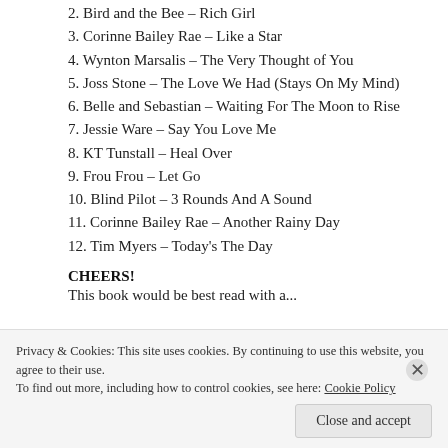2. Bird and the Bee – Rich Girl
3. Corinne Bailey Rae – Like a Star
4. Wynton Marsalis – The Very Thought of You
5. Joss Stone – The Love We Had (Stays On My Mind)
6. Belle and Sebastian – Waiting For The Moon to Rise
7. Jessie Ware – Say You Love Me
8. KT Tunstall – Heal Over
9. Frou Frou – Let Go
10. Blind Pilot – 3 Rounds And A Sound
11. Corinne Bailey Rae – Another Rainy Day
12. Tim Myers – Today's The Day
CHEERS!
This book would be best read with a...
Privacy & Cookies: This site uses cookies. By continuing to use this website, you agree to their use. To find out more, including how to control cookies, see here: Cookie Policy